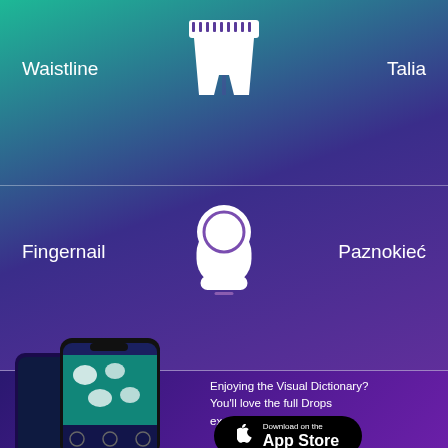[Figure (illustration): White icon of waistline/shorts with measuring tape around waist, centered in upper section]
Waistline
Talia
[Figure (illustration): White icon of a fingernail, centered in middle section]
Fingernail
Paznokieć
[Figure (screenshot): Smartphone showing the Drops visual dictionary app interface]
Enjoying the Visual Dictionary? You'll love the full Drops experience!
[Figure (logo): Download on the App Store button]